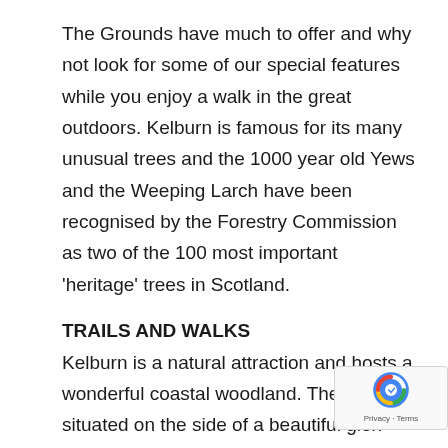The Grounds have much to offer and why not look for some of our special features while you enjoy a walk in the great outdoors. Kelburn is famous for its many unusual trees and the 1000 year old Yews and the Weeping Larch have been recognised by the Forestry Commission as two of the 100 most important 'heritage' trees in Scotland.
TRAILS AND WALKS
Kelburn is a natural attraction and hosts a wonderful coastal woodland. The castle is situated on the side of a beautiful glen and has a great outlook over the Clyde estuary and islands. Enjoy both the views and features of the glen as you explore our network of trails. W... walks give clear viewpoints whereas the vibrant greens of summer will brighten your day! Make sure